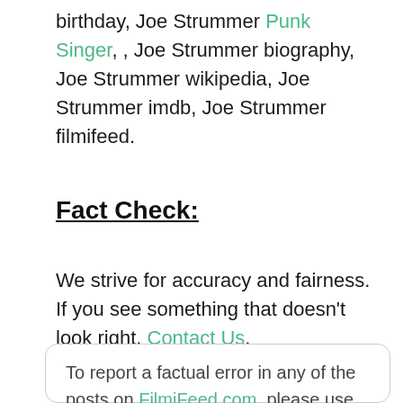birthday, Joe Strummer Punk Singer, , Joe Strummer biography, Joe Strummer wikipedia, Joe Strummer imdb, Joe Strummer filmifeed.
Fact Check:
We strive for accuracy and fairness. If you see something that doesn't look right, Contact Us.
To report a factual error in any of the posts on FilmiFeed.com, please use this form. We endeavor to be promptly responsive in correcting errors in the material published on digital platforms. You can also use the following email to report directly: